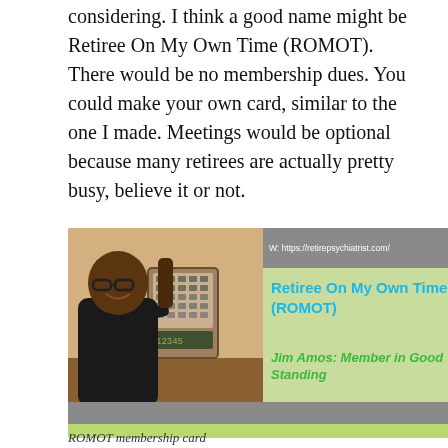considering. I think a good name might be Retiree On My Own Time (ROMOT). There would be no membership dues. You could make your own card, similar to the one I made. Meetings would be optional because many retirees are actually pretty busy, believe it or not.
[Figure (other): A membership card styled graphic with a green background. Left side shows a photo of a man holding a calculator. Right side has a gray header bar with website URL 'W: https://retirepsychiatrist.com/', bold blue text 'Retiree On My Own Time (ROMOT)', and italic green bold text 'Jim Amos: Member in Good Standing'. Bottom has a gray and green bar.]
ROMOT membership card